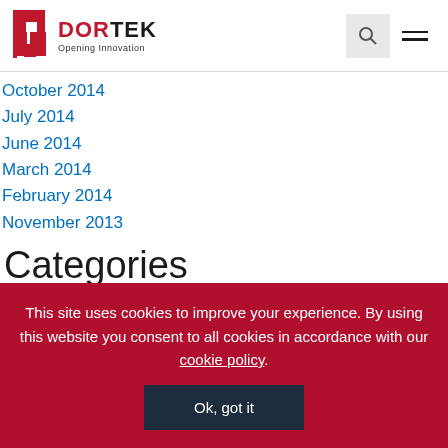[Figure (logo): Dortek logo with red geometric icon and text 'DORTEK Opening Innovation']
October 2014
July 2014
June 2014
March 2014
February 2014
November 2013
Categories
General
Meta
This site uses cookies to improve your experience. By using this website you consent to all cookies in accordance with our cookie policy.